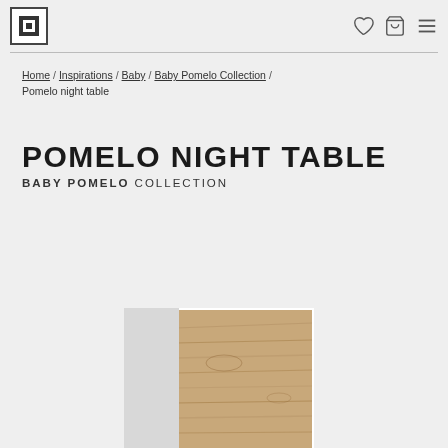Navigation header with logo and icons
Home / Inspirations / Baby / Baby Pomelo Collection / Pomelo night table
POMELO NIGHT TABLE
BABY POMELO COLLECTION
[Figure (photo): Partial view of a wooden Pomelo night table with walnut wood grain surface, shown at the bottom of the page]